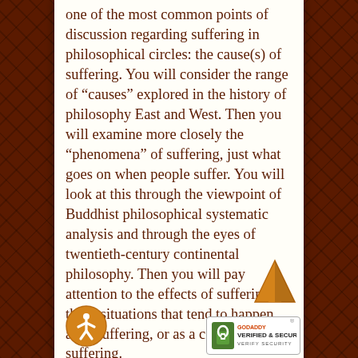one of the most common points of discussion regarding suffering in philosophical circles: the cause(s) of suffering. You will consider the range of “causes” explored in the history of philosophy East and West. Then you will examine more closely the “phenomena” of suffering, just what goes on when people suffer. You will look at this through the viewpoint of Buddhist philosophical systematic analysis and through the eyes of twentieth-century continental philosophy. Then you will pay attention to the effects of suffering, those situations that tend to happen after suffering, or as a consequence of suffering.

The second part of the chapter
[Figure (illustration): Accessibility person icon in orange circle, bottom left of page]
[Figure (illustration): Orange upward arrow icon, bottom right of page]
[Figure (logo): GoDaddy Verified and Secured badge, bottom right corner]